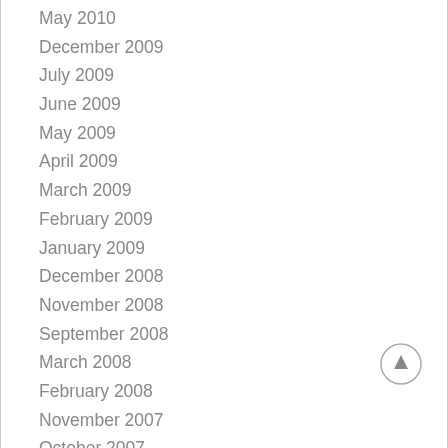May 2010
December 2009
July 2009
June 2009
May 2009
April 2009
March 2009
February 2009
January 2009
December 2008
November 2008
September 2008
March 2008
February 2008
November 2007
October 2007
September 2007
August 2007